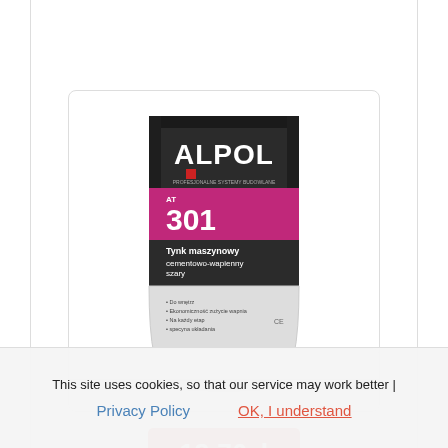[Figure (photo): ALPOL AT 301 cement machine-lime plaster product bag, 33 kg, with dark top and pink/magenta middle band showing product number 301 and product description 'Tynk maszynowy cementowo-wapienny szary']
18,76zł
24,60zł
Alpol - AT cement machine-lime plaster
This site uses cookies, so that our service may work better |
Privacy Policy
OK, I understand